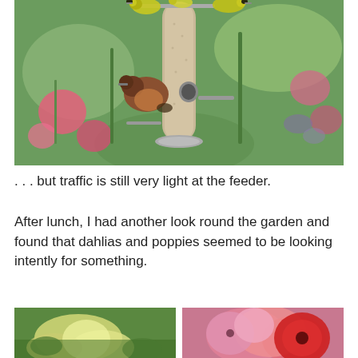[Figure (photo): Multiple birds (siskins and a chaffinch) perched on a cylindrical bird feeder, with pink flowers and green foliage in the background.]
. . . but traffic is still very light at the feeder.
After lunch, I had another look round the garden and found that dahlias and poppies seemed to be looking intently for something.
[Figure (photo): Close-up of yellow/white dahlia flowers with green foliage.]
[Figure (photo): Close-up of pink and red poppy flowers in bloom.]